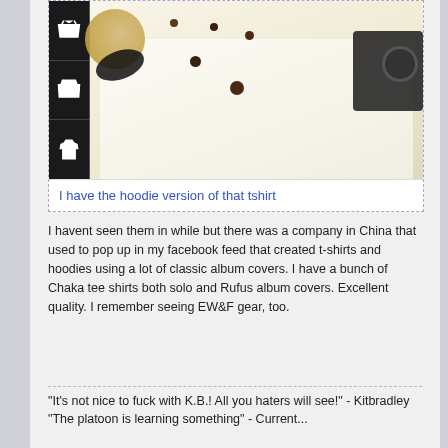[Figure (photo): Product listing image showing a t-shirt/hoodie with classic album cover art, surrounded by a hat, sunglasses, and a boombox. Three clothing thumbnail variants shown on the left (t-shirt, long sleeve, hoodie in black).]
I have the hoodie version of that tshirt
I havent seen them in while but there was a company in China that used to pop up in my facebook feed that created t-shirts and hoodies using a lot of classic album covers. I have a bunch of Chaka tee shirts both solo and Rufus album covers. Excellent quality. I remember seeing EW&F gear, too.
"It's not nice to fuck with K.B.! All you haters will see!" - Kitbradley
"The platoon is learning something" - Current...